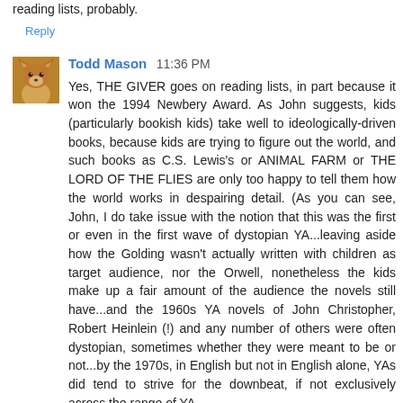reading lists, probably.
Reply
[Figure (photo): Small avatar photo of a fox or dog, brownish-orange fur, looking forward.]
Todd Mason 11:36 PM
Yes, THE GIVER goes on reading lists, in part because it won the 1994 Newbery Award. As John suggests, kids (particularly bookish kids) take well to ideologically-driven books, because kids are trying to figure out the world, and such books as C.S. Lewis's or ANIMAL FARM or THE LORD OF THE FLIES are only too happy to tell them how the world works in despairing detail. (As you can see, John, I do take issue with the notion that this was the first or even in the first wave of dystopian YA...leaving aside how the Golding wasn't actually written with children as target audience, nor the Orwell, nonetheless the kids make up a fair amount of the audience the novels still have...and the 1960s YA novels of John Christopher, Robert Heinlein (!) and any number of others were often dystopian, sometimes whether they were meant to be or not...by the 1970s, in English but not in English alone, YAs did tend to strive for the downbeat, if not exclusively across the range of YA